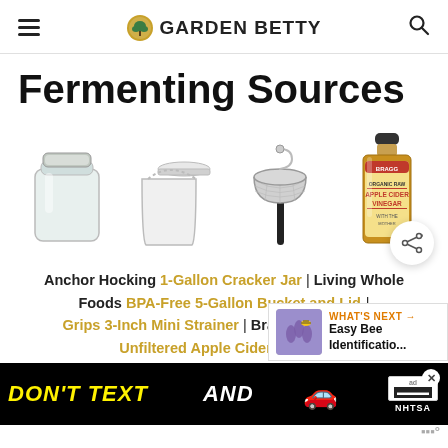GARDEN BETTY
Fermenting Sources
[Figure (photo): Four product images in a row: Anchor Hocking glass jar, white plastic 5-gallon bucket with lid, metal mesh strainer, Bragg Apple Cider Vinegar bottle]
Anchor Hocking 1-Gallon Cracker Jar | Living Whole Foods BPA-Free 5-Gallon Bucket and Lid | Grips 3-Inch Mini Strainer | Bragg Organic Raw Unfiltered Apple Cider Vinegar
[Figure (screenshot): Advertisement banner: DON'T TEXT AND [car emoji] with ad and NHTSA logos]
[Figure (screenshot): What's Next promo: Easy Bee Identificatio... with thumbnail of lavender bee photo]